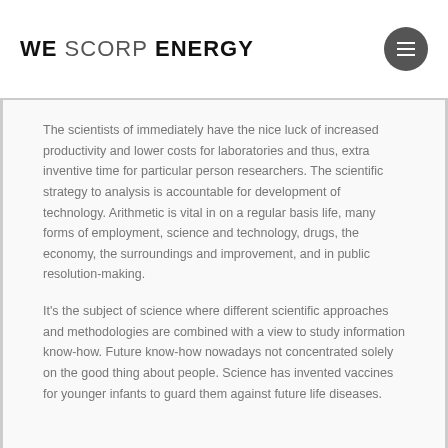WE SCORP ENERGY
The scientists of immediately have the nice luck of increased productivity and lower costs for laboratories and thus, extra inventive time for particular person researchers. The scientific strategy to analysis is accountable for development of technology. Arithmetic is vital in on a regular basis life, many forms of employment, science and technology, drugs, the economy, the surroundings and improvement, and in public resolution-making.
It's the subject of science where different scientific approaches and methodologies are combined with a view to study information know-how. Future know-how nowadays not concentrated solely on the good thing about people. Science has invented vaccines for younger infants to guard them against future life diseases.